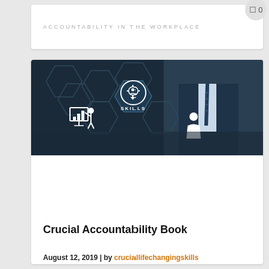ACCOUNTABILITY IN THE WORKPLACE
[Figure (illustration): Dark blue banner with hexagonal pattern icons showing SKILLS (circular icon with person and gear), a presenter at a board, and a person silhouette icon. A man in a suit and tie is visible on the right side.]
Crucial Accountability Book
August 12, 2019 | by cruciallifechangingskills